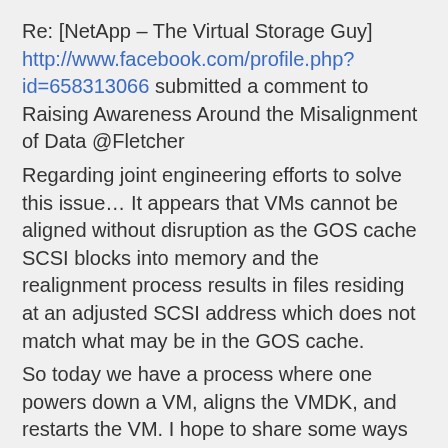Re: [NetApp – The Virtual Storage Guy] http://www.facebook.com/profile.php?id=658313066 submitted a comment to Raising Awareness Around the Misalignment of Data @Fletcher
Regarding joint engineering efforts to solve this issue… It appears that VMs cannot be aligned without disruption as the GOS cache SCSI blocks into memory and the realignment process results in files residing at an adjusted SCSI address which does not match what may be in the GOS cache.
So today we have a process where one powers down a VM, aligns the VMDK, and restarts the VM. I hope to share some ways to significantly speed up this process.
NetApp VMware engineering are working on a